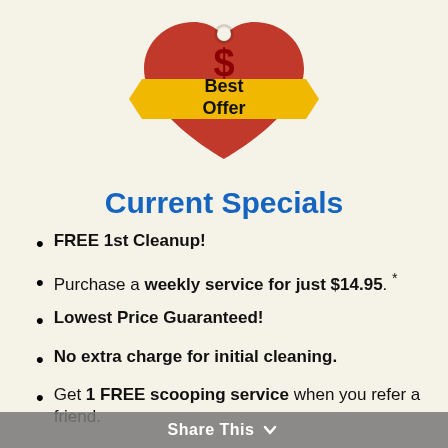[Figure (illustration): Best Offer badge/seal: red price tag with a gold ribbon banner across it reading 'Best Offer' with a dollar sign symbol]
Current Specials
FREE 1st Cleanup!
Purchase a weekly service for just $14.95. *
Lowest Price Guaranteed!
No extra charge for initial cleaning.
Get 1 FREE scooping service when you refer a friend.
Share This